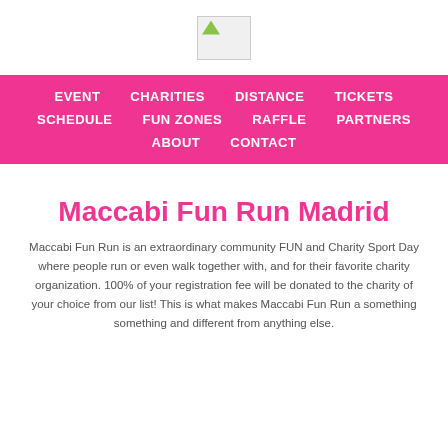[logo image]
EVENT   CHARITIES   DISTANCE   TICKETS
SCHEDULE   FUN ZONES   RAFFLE   PARTNERS
ABOUT   CONTACT
Maccabi Fun Run Madrid
Maccabi Fun Run is an extraordinary community FUN and Charity Sport Day where people run or even walk together with, and for their favorite charity organization. 100% of your registration fee will be donated to the charity of your choice from our list! This is what makes Maccabi Fun Run a something something and different from anything else.